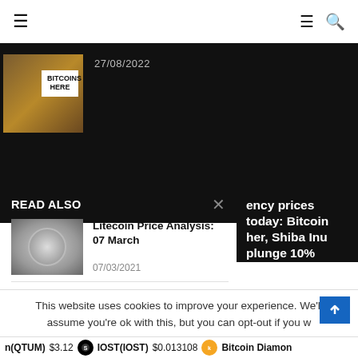≡  ≡ 🔍
[Figure (screenshot): Partial article image showing 'BITCOINS HERE' sign with date 27/08/2022]
27/08/2022
READ ALSO
ency prices today: Bitcoin her, Shiba Inu plunge 10%
[Figure (photo): Litecoin coin on dark surface]
Litecoin Price Analysis: 07 March
07/03/2021
[Figure (photo): Bitcoin glowing orbs and hands]
5 reasons why you should buy Litecoin...
31/12/2021
ld You Run Your Own Node?
This website uses cookies to improve your experience. We'll assume you're ok with this, but you can opt-out if you w
n(QTUM) $3.12  IOST(IOST) $0.013108  Bitcoin Diamon